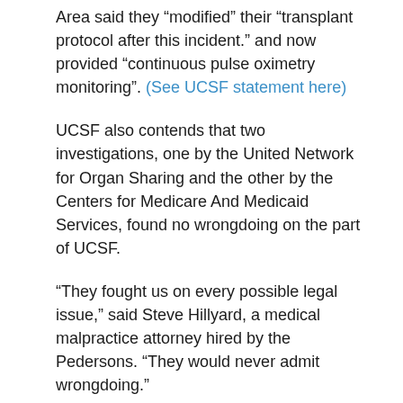Area said they “modified” their “transplant protocol after this incident.” and now provided “continuous pulse oximetry monitoring”. (See UCSF statement here)
UCSF also contends that two investigations, one by the United Network for Organ Sharing and the other by the Centers for Medicare And Medicaid Services, found no wrongdoing on the part of UCSF.
“They fought us on every possible legal issue,” said Steve Hillyard, a medical malpractice attorney hired by the Pedersons. “They would never admit wrongdoing.”
NBC Bay Area learned that this was not an isolated case. A Stallion 2021y led by Dr. Susan McGrath and Dr. George Blike at Dartmouth-Hitchcock Medical Center estimates that 180,000 people suffer from opioid-related adverse events in hospitals each year and about 5,000 patients die.